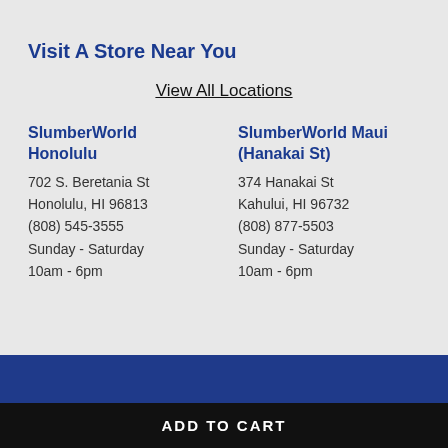Visit A Store Near You
View All Locations
SlumberWorld Honolulu
702 S. Beretania St
Honolulu, HI 96813
(808) 545-3555
Sunday - Saturday
10am - 6pm
SlumberWorld Maui (Hanakai St)
374 Hanakai St
Kahului, HI 96732
(808) 877-5503
Sunday - Saturday
10am - 6pm
Slun
944
Hilo,
(808
Mon
6pm
Sun:
ADD TO CART